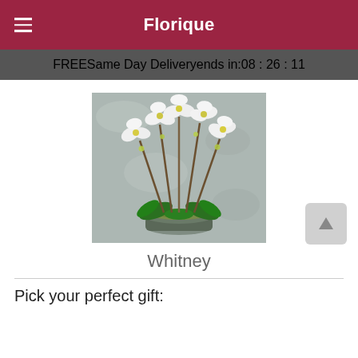Florique
FREE Same Day Delivery ends in: 08 : 26 : 11
[Figure (photo): White phalaenopsis orchid arrangement in a round metallic container with moss, photographed against a grey stone-like background. Multiple stems with cascading white blooms and yellow centers.]
Whitney
Pick your perfect gift: